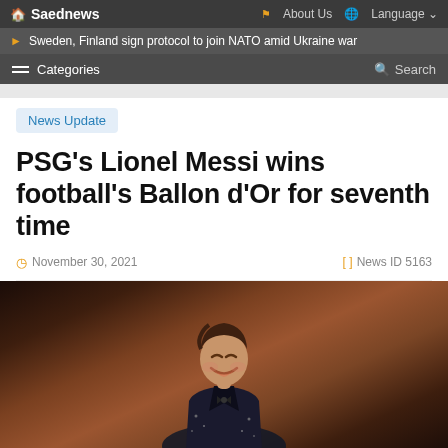Saednews | About Us | Language
Sweden, Finland sign protocol to join NATO amid Ukraine war
Categories | Search
News Update
PSG's Lionel Messi wins football's Ballon d'Or for seventh time
November 30, 2021 | News ID 5163
[Figure (photo): Photo of Lionel Messi smiling, wearing a dark sparkly suit, at an awards ceremony]